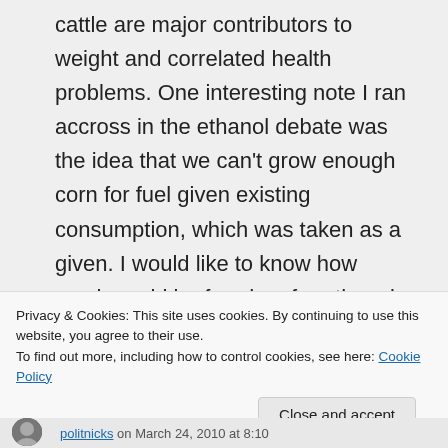cattle are major contributors to weight and correlated health problems. One interesting note I ran accross in the ethanol debate was the idea that we can't grow enough corn for fuel given existing consumption, which was taken as a given. I would like to know how much could be freed up for ethanol conversion if we stopped using it for food additives and cattle feed
Privacy & Cookies: This site uses cookies. By continuing to use this website, you agree to their use.
To find out more, including how to control cookies, see here: Cookie Policy
Close and accept
politnicks on March 24, 2010 at 8:10